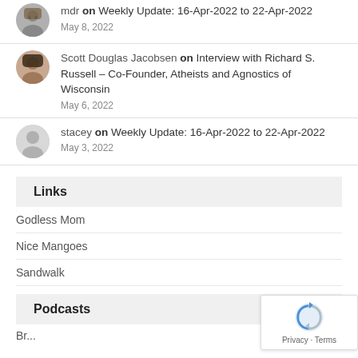mdr on Weekly Update: 16-Apr-2022 to 22-Apr-2022
May 8, 2022
Scott Douglas Jacobsen on Interview with Richard S. Russell – Co-Founder, Atheists and Agnostics of Wisconsin
May 6, 2022
stacey on Weekly Update: 16-Apr-2022 to 22-Apr-2022
May 3, 2022
Links
Godless Mom
Nice Mangoes
Sandwalk
Podcasts
Br...